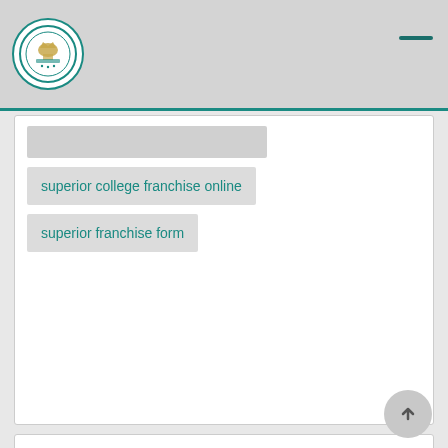[Figure (logo): Superior College circular logo with emblem]
superior college franchise online
superior franchise form
Featured Links
Courses
Superior History
In House Labs